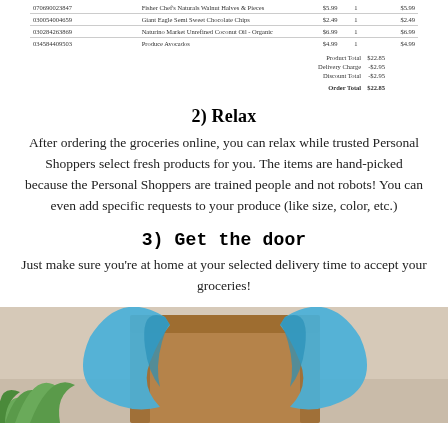| SKU | Product | Price | Qty | Total |
| --- | --- | --- | --- | --- |
| 070690023847 | Fisher Chef's Naturals Walnut Halves & Pieces | $5.99 | 1 | $5.99 |
| 030054004659 | Giant Eagle Semi Sweet Chocolate Chips | $2.49 | 1 | $2.49 |
| 030284263869 | Naturino Market Unrefined Coconut Oil - Organic | $6.99 | 1 | $6.99 |
| 034584409503 | Produce Avocados | $4.99 | 1 | $4.99 |
|  |  |
| --- | --- |
| Product Total | $22.85 |
| Delivery Charge | -$2.95 |
| Discount Total | -$2.95 |
| Order Total | $22.85 |
2) Relax
After ordering the groceries online, you can relax while trusted Personal Shoppers select fresh products for you. The items are hand-picked because the Personal Shoppers are trained people and not robots! You can even add specific requests to your produce (like size, color, etc.)
3) Get the door
Just make sure you're at home at your selected delivery time to accept your groceries!
[Figure (photo): Brown paper grocery bag with blue plastic bag handles on a beige background with green plant visible at bottom left]